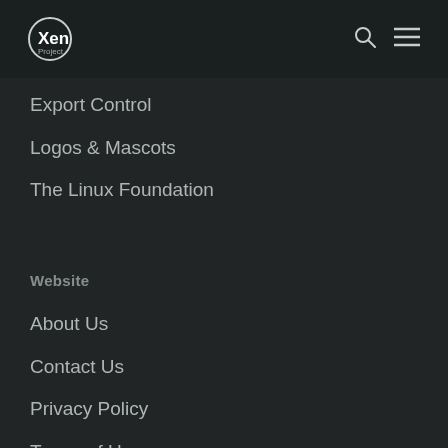Xen Project
Export Control
Logos & Mascots
The Linux Foundation
Website
About Us
Contact Us
Privacy Policy
Terms of Use